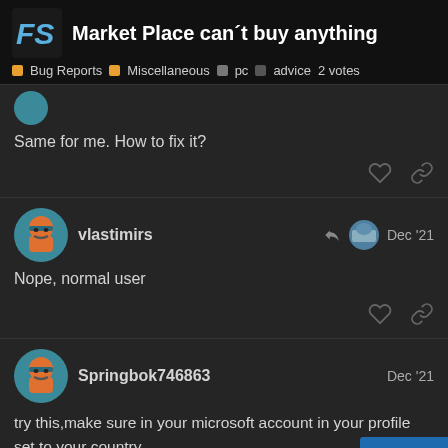Market Place can't buy anything — Bug Reports | Miscellaneous | pc | advice — 2 votes
Same for me. How to fix it?
vlastimirs — Dec '21 — Nope, normal user
Springbok746863 — Dec '21 — try this,make sure in your microsoft account in your profile set to your country
2 / 13